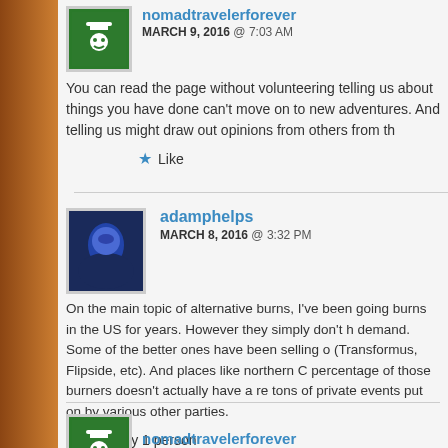nomadtravelerforever
MARCH 9, 2016 @ 7:03 AM
You can read the page without volunteering telling us about things you have done can't move on to new adventures. And telling us might draw out opinions from others from th
Like
adamphelps
MARCH 8, 2016 @ 3:32 PM
On the main topic of alternative burns, I've been going burns in the US for years. However they simply don't h demand. Some of the better ones have been selling o (Transformus, Flipside, etc). And places like northern C percentage of those burners doesn't actually have a re tons of private events put on by various other parties.
Liked by 1 person
nomadtravelerforever